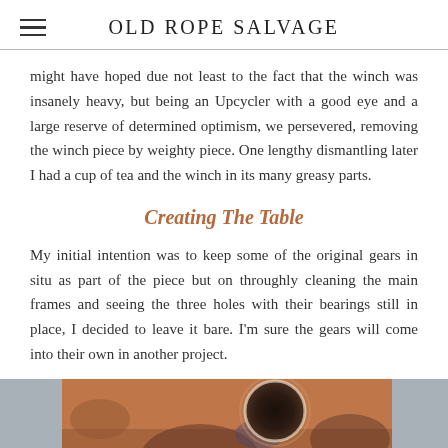OLD ROPE SALVAGE
might have hoped due not least to the fact that the winch was insanely heavy, but being an Upcycler with a good eye and a large reserve of determined optimism, we persevered, removing the winch piece by weighty piece. One lengthy dismantling later I had a cup of tea and the winch in its many greasy parts.
Creating The Table
My initial intention was to keep some of the original gears in situ as part of the piece but on throughly cleaning the main frames and seeing the three holes with their bearings still in place, I decided to leave it bare. I'm sure the gears will come into their own in another project.
[Figure (photo): Close-up photo of a rusty brownish-orange metal surface with a circular hole/bearing in the upper center, against a grey background.]